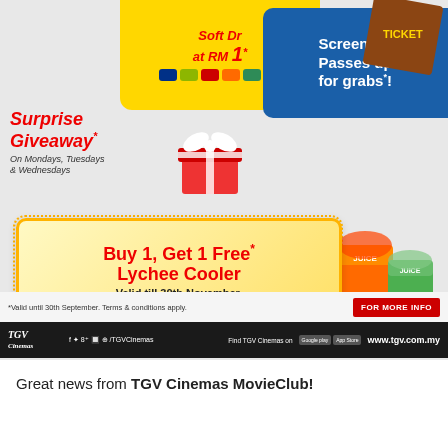[Figure (infographic): TGV Cinemas promotional advertisement featuring: Soft Drink at RM1* offer in yellow banner with brand logos (Pepsi, Mountain Dew, Soda, etc.), Screening Passes up for grabs in blue banner with ticket stub graphic, Surprise Giveaway* on Mondays, Tuesdays & Wednesdays with gift box illustration, Buy 1 Get 1 Free* Lychee Cooler valid till 30th November promotion in yellow dotted border box with watermelon and juice cup illustrations, disclaimer text '*Valid until 30th September. Terms & conditions apply.' and FOR MORE INFO red button, TGV Cinemas black footer bar with logo, social media icons /TGVCinemas, Find TGV Cinemas on Google Play and App Store, www.tgv.com.my]
Great news from TGV Cinemas MovieClub!